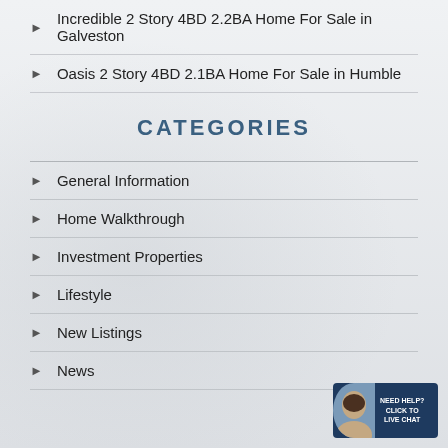Incredible 2 Story 4BD 2.2BA Home For Sale in Galveston
Oasis 2 Story 4BD 2.1BA Home For Sale in Humble
CATEGORIES
General Information
Home Walkthrough
Investment Properties
Lifestyle
New Listings
News